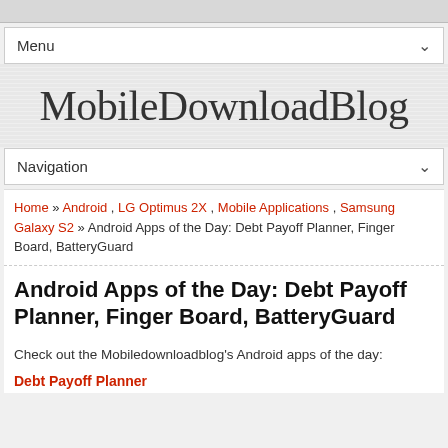Menu
MobileDownloadBlog
Navigation
Home » Android , LG Optimus 2X , Mobile Applications , Samsung Galaxy S2 » Android Apps of the Day: Debt Payoff Planner, Finger Board, BatteryGuard
Android Apps of the Day: Debt Payoff Planner, Finger Board, BatteryGuard
Check out the Mobiledownloadblog's Android apps of the day:
Debt Payoff Planner